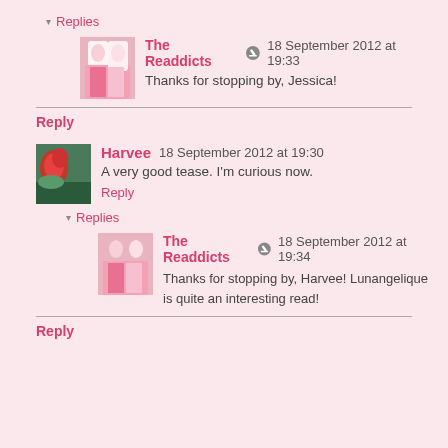▾ Replies
The Readdicts · 18 September 2012 at 19:33
Thanks for stopping by, Jessica!
Reply
Harvee  18 September 2012 at 19:30
A very good tease. I'm curious now.
Reply
▾ Replies
The Readdicts · 18 September 2012 at 19:34
Thanks for stopping by, Harvee! Lunangelique is quite an interesting read!
Reply